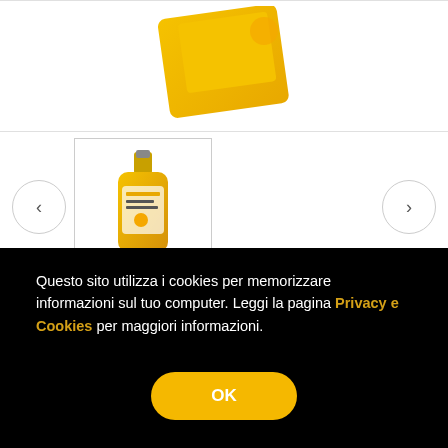[Figure (photo): Product image of a yellow bottle/package, partially visible at top]
[Figure (photo): Thumbnail image of a yellow bottle product in a bordered box with left and right navigation arrows]
0 reviews | Write a review
Tweet  Share
Questo sito utilizza i cookies per memorizzare informazioni sul tuo computer. Leggi la pagina Privacy e Cookies per maggiori informazioni.
OK